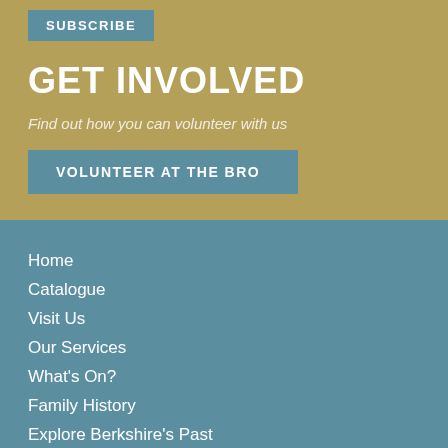SUBSCRIBE
GET INVOLVED
Find out how you can volunteer with us
VOLUNTEER AT THE BRO
Home
Catalogue
Visit Us
Our Services
What's On?
Family History
Explore Berkshire's Past
Contact Us
THE BERKSHIRE RECORD OFFICE